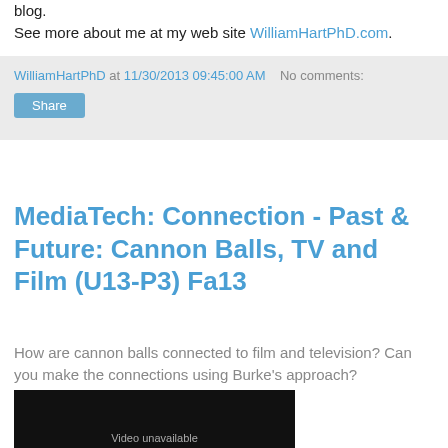blog.
See more about me at my web site WilliamHartPhD.com.
WilliamHartPhD at 11/30/2013 09:45:00 AM   No comments:
MediaTech: Connection - Past & Future: Cannon Balls, TV and Film (U13-P3) Fa13
How are cannon balls connected to film and television? Can you make the connections using Burke's approach?
[Figure (screenshot): Embedded video player showing 'Video unavailable' message on black background]